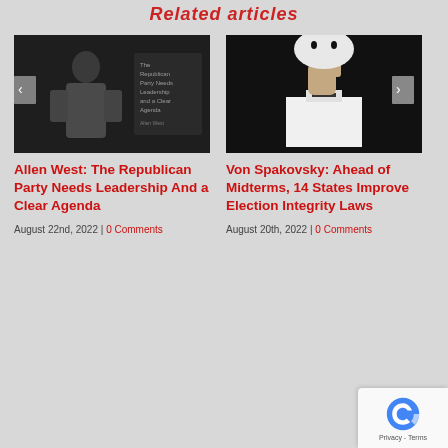Related articles
[Figure (photo): Dark portrait photo of Allen West in suit with arms crossed, with text overlay about Republican Party leadership]
Allen West: The Republican Party Needs Leadership And a Clear Agenda
August 22nd, 2022 | 0 Comments
[Figure (photo): Dark photo of a person in white mask holding a ballot box]
Von Spakovsky: Ahead of Midterms, 14 States Improve Election Integrity Laws
August 20th, 2022 | 0 Comments